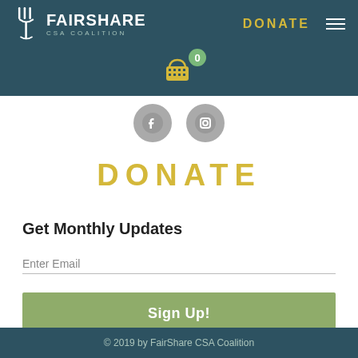[Figure (logo): FairShare CSA Coalition logo with fork icon, DONATE navigation link, and hamburger menu on dark teal background with shopping cart icon showing 0 items]
[Figure (infographic): Facebook and Instagram social media icon circles in gray]
DONATE
Get Monthly Updates
Enter Email
Sign Up!
© 2019 by FairShare CSA Coalition